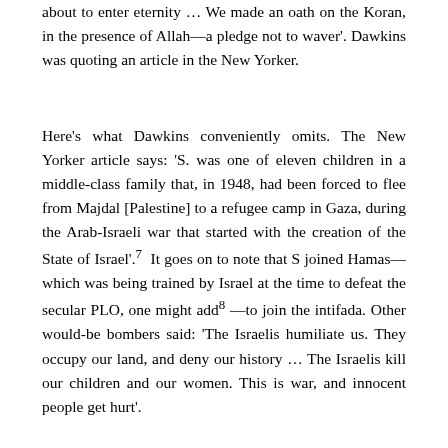about to enter eternity … We made an oath on the Koran, in the presence of Allah—a pledge not to waver'. Dawkins was quoting an article in the New Yorker.
Here's what Dawkins conveniently omits. The New Yorker article says: 'S. was one of eleven children in a middle-class family that, in 1948, had been forced to flee from Majdal [Palestine] to a refugee camp in Gaza, during the Arab-Israeli war that started with the creation of the State of Israel'.7  It goes on to note that S joined Hamas—which was being trained by Israel at the time to defeat the secular PLO, one might add8 —to join the intifada. Other would-be bombers said: 'The Israelis humiliate us. They occupy our land, and deny our history … The Israelis kill our children and our women. This is war, and innocent people get hurt'.